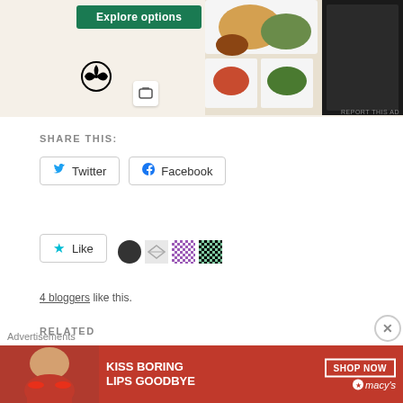[Figure (screenshot): Top advertisement banner showing WordPress and food delivery app with Explore options button, food images on right side]
SHARE THIS:
[Figure (other): Twitter and Facebook share buttons]
[Figure (other): Like button with star icon and 4 blogger avatar thumbnails]
4 bloggers like this.
RELATED
MSFS gets Spain, Portugal, Gibraltar, and Andorra World Update
Advertisements
[Figure (photo): Macy's advertisement banner: KISS BORING LIPS GOODBYE with SHOP NOW button and Macy's logo]